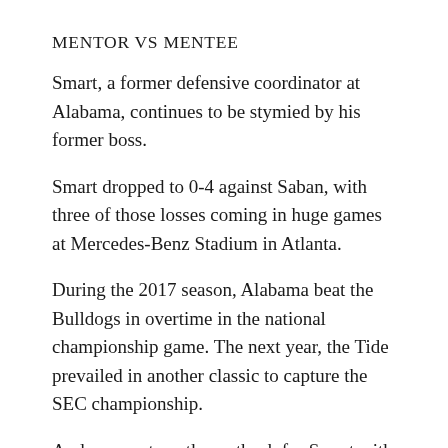MENTOR VS MENTEE
Smart, a former defensive coordinator at Alabama, continues to be stymied by his former boss.
Smart dropped to 0-4 against Saban, with three of those losses coming in huge games at Mercedes-Benz Stadium in Atlanta.
During the 2017 season, Alabama beat the Bulldogs in overtime in the national championship game. The next year, the Tide prevailed in another classic to capture the SEC championship.
And now, yet another setback for Smart with the conference title on the line.
THE TAKEAWAY
Georgia: This could be a devastating blow to the psyche of a team that had looked unbeatable most the